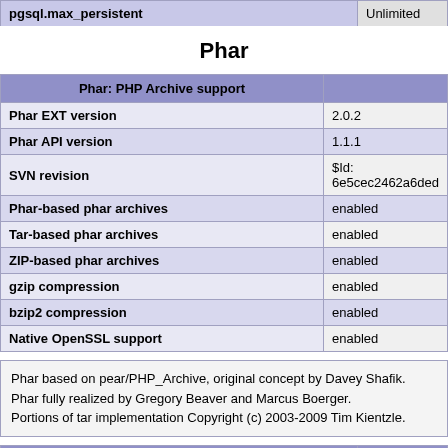| pgsql.max_persistent | Unlimited |
| --- | --- |
Phar
| Phar: PHP Archive support |  |
| --- | --- |
| Phar EXT version | 2.0.2 |
| Phar API version | 1.1.1 |
| SVN revision | $Id: 6e5cec2462a6ded |
| Phar-based phar archives | enabled |
| Tar-based phar archives | enabled |
| ZIP-based phar archives | enabled |
| gzip compression | enabled |
| bzip2 compression | enabled |
| Native OpenSSL support | enabled |
Phar based on pear/PHP_Archive, original concept by Davey Shafik.
Phar fully realized by Gregory Beaver and Marcus Boerger.
Portions of tar implementation Copyright (c) 2003-2009 Tim Kientzle.
| Directive | Lo |
| --- | --- |
| phar.cache_list | no value |
| phar.readonly | On |